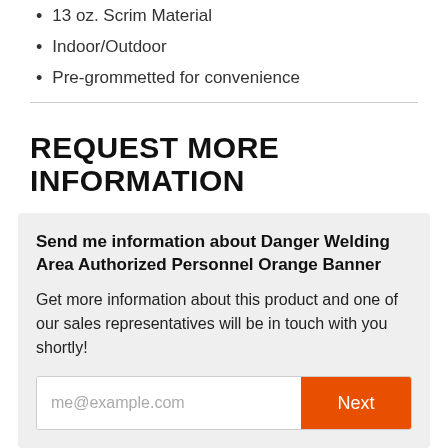13 oz. Scrim Material
Indoor/Outdoor
Pre-grommetted for convenience
REQUEST MORE INFORMATION
Send me information about Danger Welding Area Authorized Personnel Orange Banner
Get more information about this product and one of our sales representatives will be in touch with you shortly!
me@example.com  Next